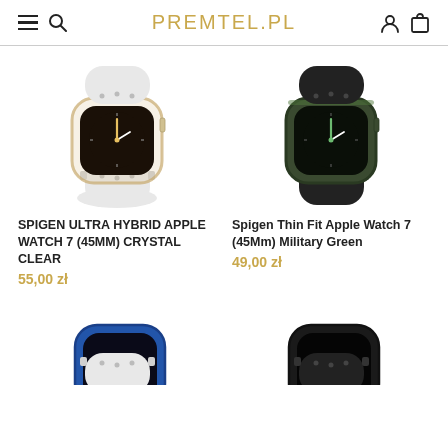PREMTEL.PL
[Figure (photo): Spigen Ultra Hybrid Apple Watch 7 45mm Crystal Clear case product photo - white band with clear/gold case]
SPIGEN ULTRA HYBRID APPLE WATCH 7 (45MM) CRYSTAL CLEAR
55,00 zł
[Figure (photo): Spigen Thin Fit Apple Watch 7 45mm Military Green case product photo - black band with dark green case]
Spigen Thin Fit Apple Watch 7 (45Mm) Military Green
49,00 zł
[Figure (photo): Apple Watch case product photo - white/blue band, partial view at bottom left]
[Figure (photo): Apple Watch case product photo - black band, partial view at bottom right]